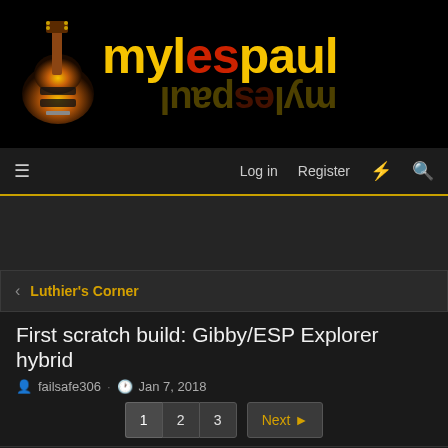[Figure (logo): myLESpaul forum logo with guitar image and stylized text with mirror reflection on black background]
Log in   Register
Luthier's Corner
First scratch build: Gibby/ESP Explorer hybrid
failsafe306 · Jan 7, 2018
1  2  3  Next
failsafe306
Senior Member